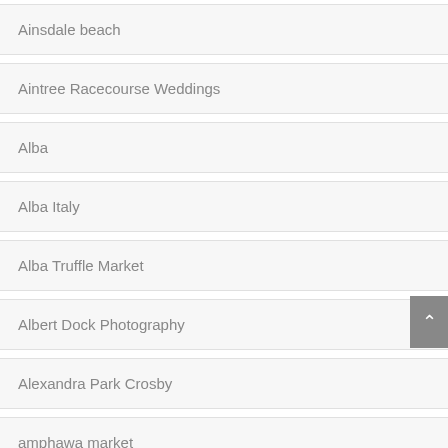Ainsdale beach
Aintree Racecourse Weddings
Alba
Alba Italy
Alba Truffle Market
Albert Dock Photography
Alexandra Park Crosby
amphawa market
Anglican Cathedral wedding Liverpool